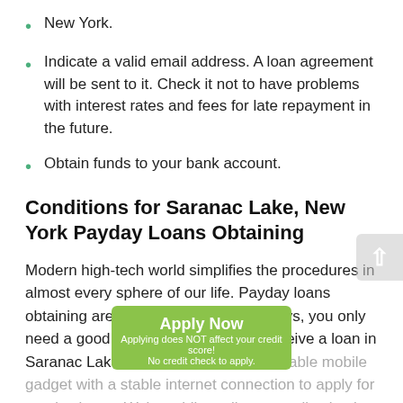New York.
Indicate a valid email address. A loan agreement will be sent to it. Check it not to have problems with interest rates and fees for late repayment in the future.
Obtain funds to your bank account.
Conditions for Saranac Lake, New York Payday Loans Obtaining
Modern high-tech world simplifies the procedures in almost every sphere of our life. Payday loans obtaining aren't an exception. Nowadays, you only need a good internet connection to receive a loan in Saranac Lake New York. Use any available mobile gadget with a stable internet connection to apply for payday loans. Wait a while until your application is confirmed. Then hurry up to check your bank account to find the borrowed money there.
[Figure (other): Green 'Apply Now' button overlay with text 'Applying does NOT affect your credit score!' and 'No credit check to apply.']